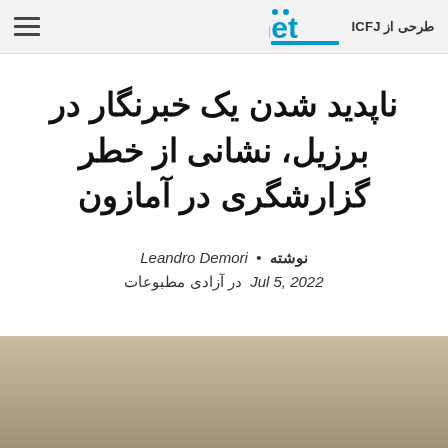ijnet — طرحی از ICFJ
ناپدید شدن یک خبرنگار در برزیل، نشانی از خطر گزارشگری در آمازون
نوشته • Leandro Demori
Jul 5, 2022 در آزادی مطبوعات
[Figure (photo): Tan/beige gradient image placeholder at the bottom of the page]